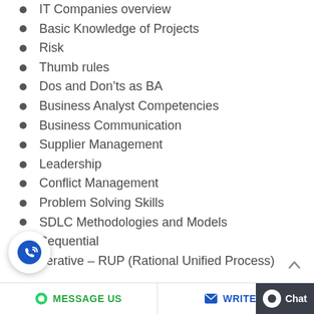IT Companies overview
Basic Knowledge of Projects
Risk
Thumb rules
Dos and Don’ts as BA
Business Analyst Competencies
Business Communication
Supplier Management
Leadership
Conflict Management
Problem Solving Skills
SDLC Methodologies and Models
Sequential
Iterative – RUP (Rational Unified Process)
MESSAGE US   WRITE U   Chat